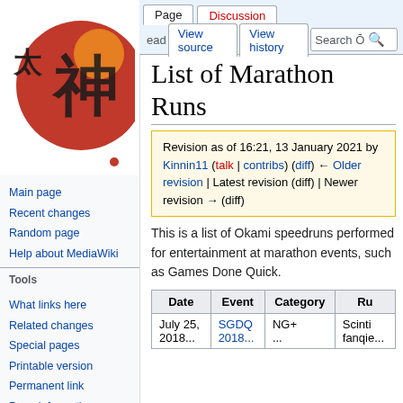Log in
[Figure (logo): Okami wiki logo with Japanese characters and red sun circle]
Main page
Recent changes
Random page
Help about MediaWiki
Tools
What links here
Related changes
Special pages
Printable version
Permanent link
Page information
List of Marathon Runs
Revision as of 16:21, 13 January 2021 by Kinnin11 (talk | contribs) (diff) ← Older revision | Latest revision (diff) | Newer revision → (diff)
This is a list of Okami speedruns performed for entertainment at marathon events, such as Games Done Quick.
| Date | Event | Category | Ru... |
| --- | --- | --- | --- |
| July 25, 2018... | SGDQ 2018... | NG+ ... | Scinti fanjie... |